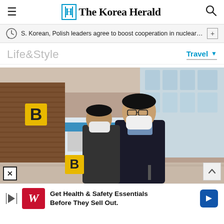The Korea Herald
S. Korean, Polish leaders agree to boost cooperation in nuclear p···
Life&Style
Travel
[Figure (photo): Two men wearing white face masks walking through an airport terminal. The man in the foreground wears a dark suit and light blue shirt, pulling a luggage bag. The background shows airport check-in counters and large windows. A yellow 'B' gate sign is visible on a brown wall.]
Get Health & Safety Essentials Before They Sell Out.